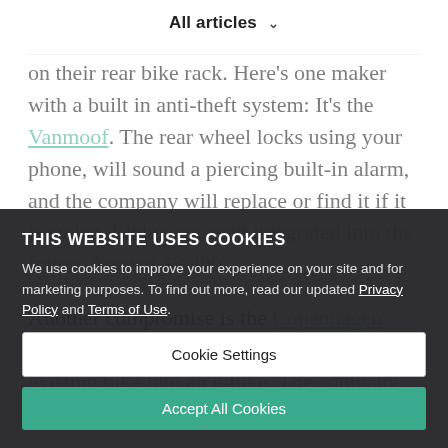All articles
on their rear bike rack. Here's one maker with a built in anti-theft system: It's the Vanmoof. The rear wheel locks using your phone, will sound a piercing built-in alarm, and the company will replace or find it if it is stolen. Lights are even integrated into the frame. Around $3,400.
Another compromise is the Copenhagen Wheel developed by MIT, which retrofits an existing bike into an e-bike. The company also makes entire bikes. It a...
Best advice, however, is like purchasing your Leisure Travel Van, do your research, try several at e-bike stores, and read reviews of the various styles.
And of course, decide whether you need, or just want, an e-bike, and what you'll use it for. After all
THIS WEBSITE USES COOKIES
We use cookies to improve your experience on your site and for marketing purposes. To find out more, read our updated Privacy Policy and Terms of Use.
Cookie Settings
Accept All Cookies